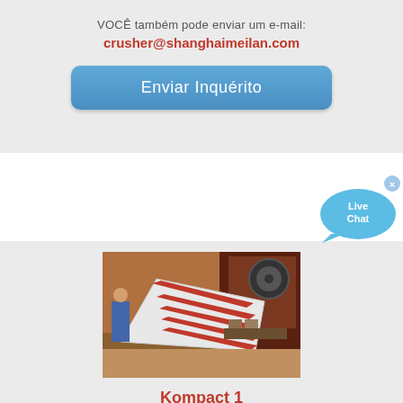VOCÊ também pode enviar um e-mail: crusher@shanghaimeilan.com
Enviar Inquérito
[Figure (other): Live Chat bubble widget with cyan speech bubble and 'x' close button]
[Figure (photo): Industrial crusher machine parts — white and red metal jaw plates on warehouse floor next to heavy machinery]
Kompact 1
KOMPACT CRUSHER. We developed our KOMPACT CRUSHER as a crushing complex with processing capacity of amounts lower than 70 TPH and quick installation on the workplace. We design several models that can